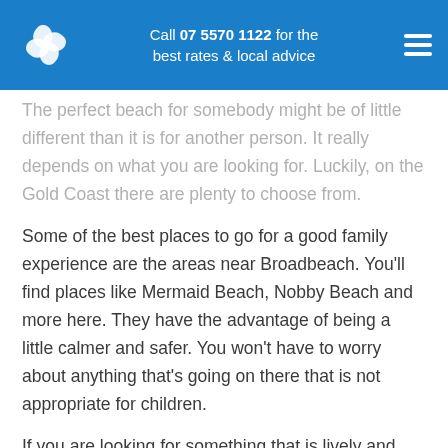Call 07 5570 1122 for the best rates & local advice
The perfect beach for somebody might be of little different than it is for another person. It really depends on what you are looking for. Luckily, on the Gold Coast there are plenty to choose from.
Some of the best places to go for a good family experience are the areas near Broadbeach. You'll find places like Mermaid Beach, Nobby Beach and more here. They have the advantage of being a little calmer and safer. You won't have to worry about anything that's going on there that is not appropriate for children.
If you are looking for something that is lively and happening, then Main Beach will probably provide